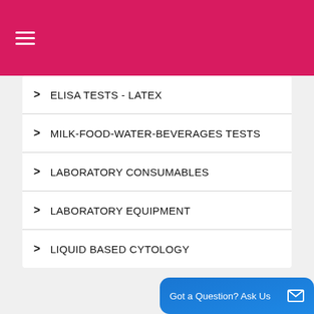Navigation menu header bar
ELISA TESTS - LATEX
MILK-FOOD-WATER-BEVERAGES TESTS
LABORATORY CONSUMABLES
LABORATORY EQUIPMENT
LIQUID BASED CYTOLOGY
MILK-FOOD-WATER-BEVERAGES TESTS
WATER
MILK
Got a Question? Ask Us